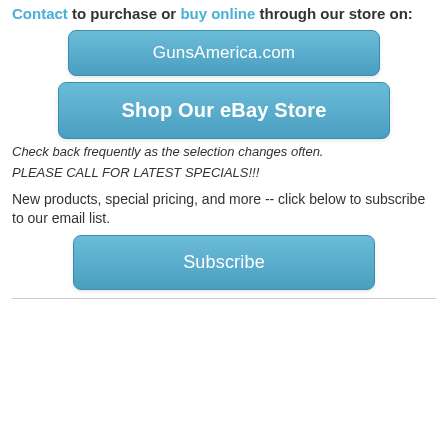Contact to purchase or buy online through our store on:
[Figure (other): Blue rounded button labeled 'GunsAmerica.com']
[Figure (other): Blue rounded button labeled 'Shop Our eBay Store']
Check back frequently as the selection changes often.
PLEASE CALL FOR LATEST SPECIALS!!!
New products, special pricing, and more -- click below to subscribe to our email list.
[Figure (other): Blue rounded button labeled 'Subscribe']